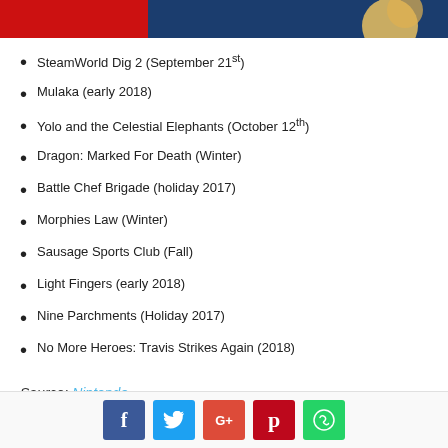[Figure (photo): Header image with red and blue/dark blue background, partial character illustration]
SteamWorld Dig 2  (September 21st)
Mulaka  (early 2018)
Yolo and the Celestial Elephants  (October 12th)
Dragon: Marked For Death  (Winter)
Battle Chef Brigade  (holiday 2017)
Morphies Law  (Winter)
Sausage Sports Club  (Fall)
Light Fingers  (early 2018)
Nine Parchments  (Holiday 2017)
No More Heroes: Travis Strikes Again  (2018)
Source: Nintendo
[Figure (other): Social media sharing buttons: Facebook, Twitter, Google+, Pinterest, WhatsApp]